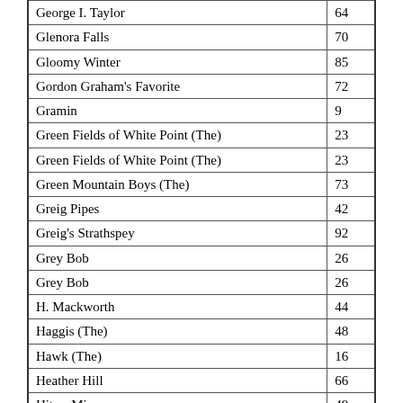| Title | Page |
| --- | --- |
| George I. Taylor | 64 |
| Glenora Falls | 70 |
| Gloomy Winter | 85 |
| Gordon Graham's Favorite | 72 |
| Gramin | 9 |
| Green Fields of White Point (The) | 23 |
| Green Fields of White Point (The) | 23 |
| Green Mountain Boys (The) | 73 |
| Greig Pipes | 42 |
| Greig's Strathspey | 92 |
| Grey Bob | 26 |
| Grey Bob | 26 |
| H. Mackworth | 44 |
| Haggis (The) | 48 |
| Hawk (The) | 16 |
| Heather Hill | 66 |
| Hit or Miss | 49 |
| Honeysuckle (The) | 13 |
| Horn (The) | 7 |
| House of Skene (The) | 87 |
| Howard's Reel | 37 |